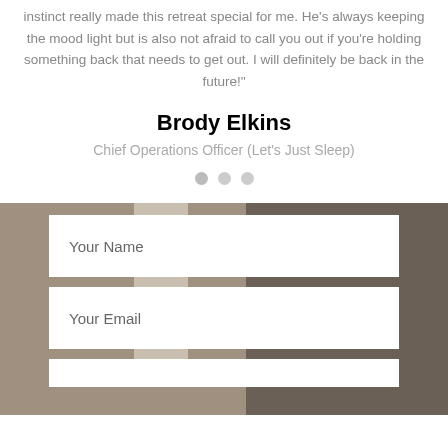instinct really made this retreat special for me. He's always keeping the mood light but is also not afraid to call you out if you're holding something back that needs to get out. I will definitely be back in the future!"
Brody Elkins
Chief Operations Officer (Let's Just Sleep)
[Figure (other): Three pagination dots, the leftmost slightly darker (active), indicating a carousel/slider position indicator]
[Figure (photo): A blurred background photo showing an interior room scene with muted warm tones (grays, tans, browns). Overlaid are two white form input fields labeled 'Your Name' and 'Your Email', and a partially visible third field at the bottom.]